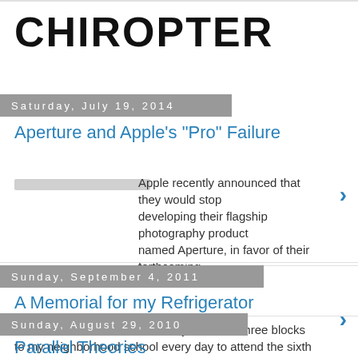CHIROPTER
Saturday, July 19, 2014
Aperture and Apple's "Pro" Failure
Apple recently announced that they would stop developing their flagship photography product named Aperture, in favor of their forthcoming ...
Sunday, September 4, 2011
A Memorial for my Refrigerator
When she was born, I was a boy.  I walked three blocks to my neighborhood school every day to attend the sixth grade.  My teacher's nam...
Sunday, August 29, 2010
Parallel Theories